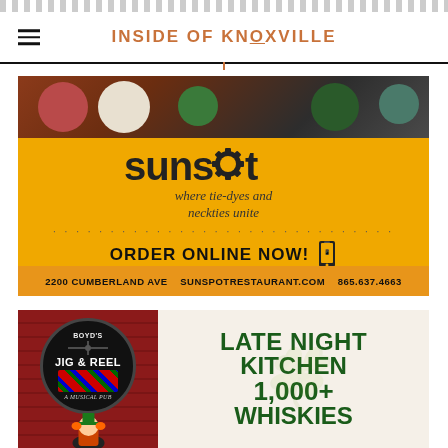INSIDE OF KNOXVILLE
[Figure (illustration): Sunspot restaurant advertisement with food photo at top, yellow/orange background, gear logo, tagline 'where tie-dyes and neckties unite', ORDER ONLINE NOW! text, and footer with address 2200 CUMBERLAND AVE SUNSPOTRESTAURANT.COM 865.637.4663]
[Figure (illustration): Boyd's Jig & Reel restaurant advertisement with red brick wall on left, circular logo, and text LATE NIGHT KITCHEN 1,000+ WHISKIES on cream background]